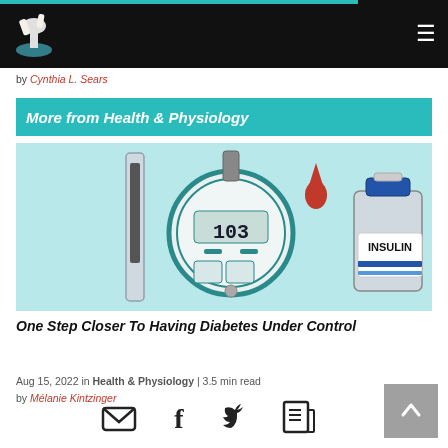Navigation bar with logo and hamburger menu
by Cynthia L. Sears
More from Health & Physiology
[Figure (illustration): Illustration of a blood glucose meter showing reading of 103, a blood drop, a thermometer/test strip, and an insulin vial labeled INSULIN on a light blue background]
One Step Closer To Having Diabetes Under Control
Aug 15, 2022 in Health & Physiology | 3.5 min read by Mélanie Kintzinger
[Figure (infographic): Social sharing icons: email envelope, Facebook f, Twitter bird, PDF download]